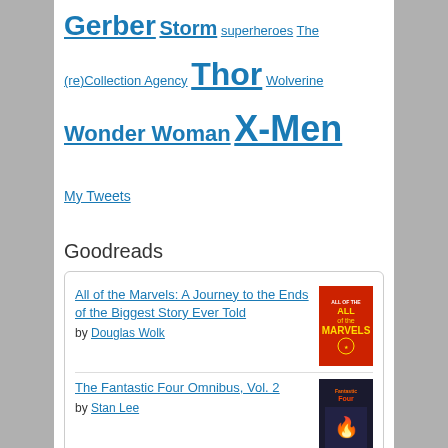Gerber Storm superheroes The (re)Collection Agency Thor Wolverine Wonder Woman X-Men
My Tweets
Goodreads
[Figure (other): Goodreads widget showing two book entries: 'All of the Marvels: A Journey to the Ends of the Biggest Story Ever Told' by Douglas Wolk, and 'The Fantastic Four Omnibus, Vol. 2' by Stan Lee, each with book cover images and a Goodreads logo at the bottom.]